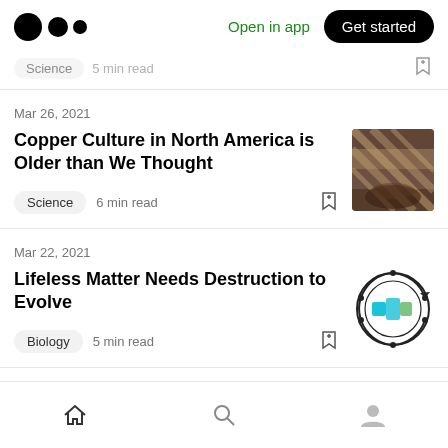Medium logo | Open in app | Get started
Science  · 5 min read
Mar 26, 2021
Copper Culture in North America is Older than We Thought
Science  6 min read
[Figure (photo): Thumbnail image of copper/metalwork artifact]
Mar 22, 2021
Lifeless Matter Needs Destruction to Evolve
Biology  5 min read
[Figure (photo): Thumbnail image of a circular biology diagram]
Home | Search | Profile